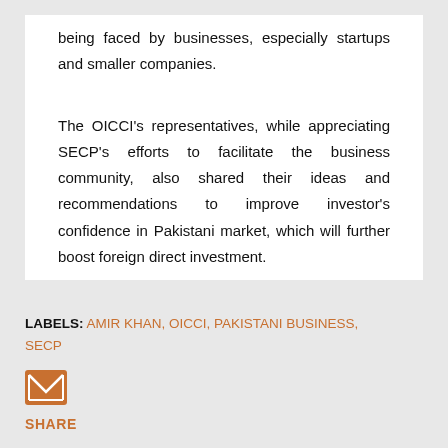being faced by businesses, especially startups and smaller companies.
The OICCI's representatives, while appreciating SECP's efforts to facilitate the business community, also shared their ideas and recommendations to improve investor's confidence in Pakistani market, which will further boost foreign direct investment.
LABELS: AMIR KHAN, OICCI, PAKISTANI BUSINESS, SECP
[Figure (other): Email/envelope icon (orange square with white envelope)]
SHARE